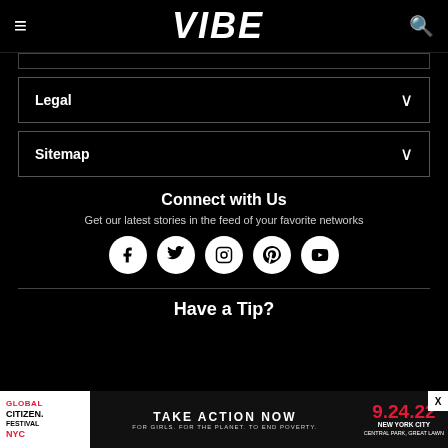VIBE
Legal
Sitemap
Connect with Us
Get our latest stories in the feed of your favorite networks
[Figure (infographic): Row of 5 social media icons in white circles: Facebook, Twitter, Instagram, Pinterest, YouTube]
Have a Tip?
[Figure (infographic): Global Citizen Festival NYC ad banner: TAKE ACTION NOW FOR GIRLS. FOR THE PLANET. TO END POVERTY. 9.24.22 NEW YORK CITY CENTRAL PARK, GREAT LAWN]